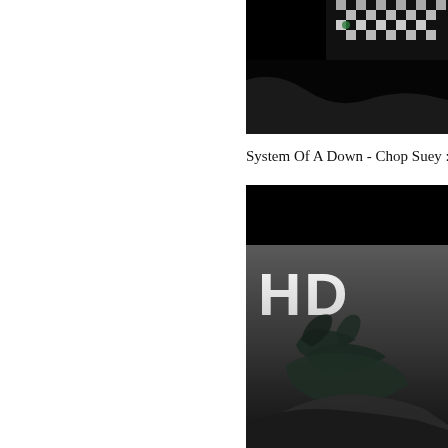[Figure (photo): Top thumbnail image showing a dark background with a checkered/metallic bracelet or accessory visible, mostly black]
System Of A Down - Chop Suey :
[Figure (photo): Bottom thumbnail image showing HD label in large white bold text over a dark/gray background with what appears to be a person with dark hair visible in the lower portion]